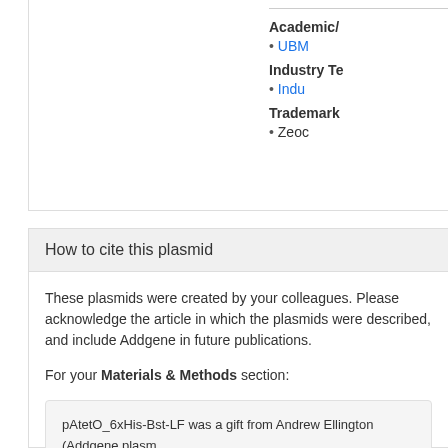Academic/
UBM
Industry Te
Indu
Trademark
Zeoc
How to cite this plasmid
These plasmids were created by your colleagues. Please acknowledge the article in which the plasmids were described, and include Addgene in future publications.
For your Materials & Methods section:
pAtetO_6xHis-Bst-LF was a gift from Andrew Ellington (Addgene plasmid # ; http://n2t.net/addgene:145799 ; RRID:Addgene_145799)